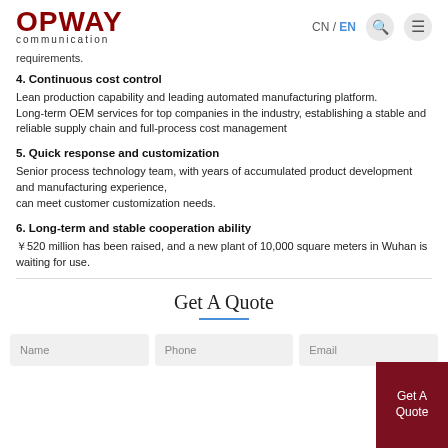OPWAY communication | CN / EN
requirements.
4. Continuous cost control
Lean production capability and leading automated manufacturing platform.
Long-term OEM services for top companies in the industry, establishing a stable and reliable supply chain and full-process cost management
5. Quick response and customization
Senior process technology team, with years of accumulated product development and manufacturing experience,
can meet customer customization needs.
6. Long-term and stable cooperation ability
￥520 million has been raised, and a new plant of 10,000 square meters in Wuhan is waiting for use.
Get A Quote
Name | Phone | Email